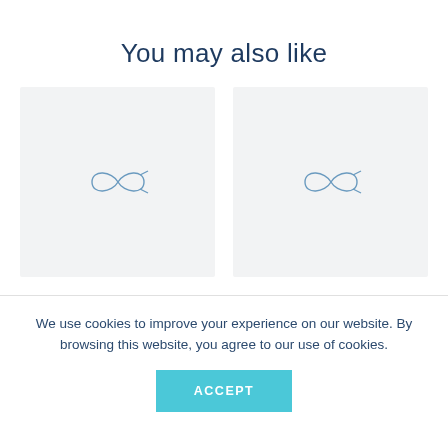You may also like
[Figure (illustration): Two placeholder image cards side by side, each showing a light gray background with a small dark blue infinity/fish-like logo icon centered inside.]
We use cookies to improve your experience on our website. By browsing this website, you agree to our use of cookies.
ACCEPT